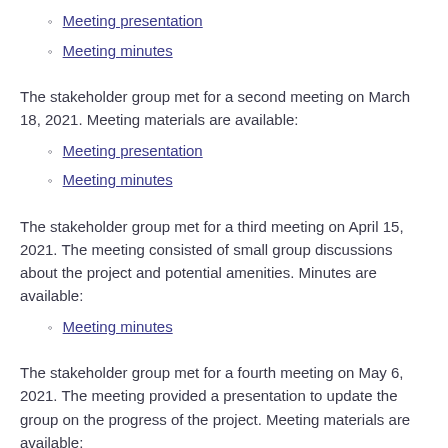Meeting presentation
Meeting minutes
The stakeholder group met for a second meeting on March 18, 2021. Meeting materials are available:
Meeting presentation
Meeting minutes
The stakeholder group met for a third meeting on April 15, 2021. The meeting consisted of small group discussions about the project and potential amenities. Minutes are available:
Meeting minutes
The stakeholder group met for a fourth meeting on May 6, 2021. The meeting provided a presentation to update the group on the progress of the project. Meeting materials are available: